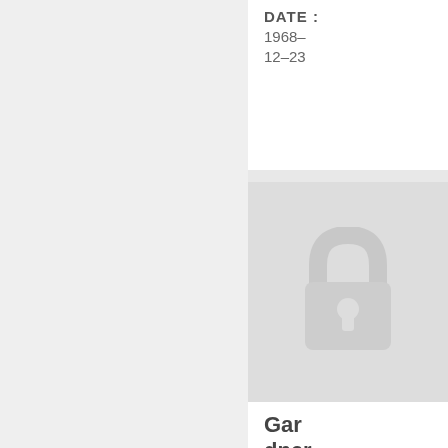DATE : 1968-12-23
[Figure (photo): Placeholder image with a lock icon indicating restricted/private photo]
Gardner appoint
DATE : 1965-